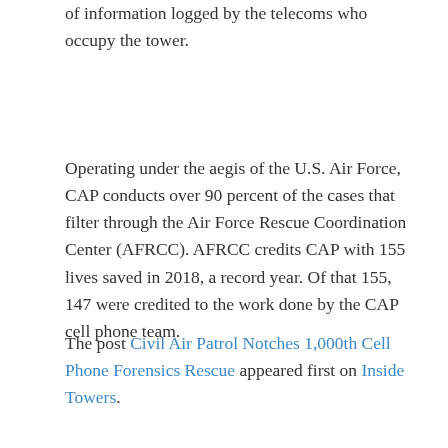of information logged by the telecoms who occupy the tower.
Operating under the aegis of the U.S. Air Force, CAP conducts over 90 percent of the cases that filter through the Air Force Rescue Coordination Center (AFRCC). AFRCC credits CAP with 155 lives saved in 2018, a record year. Of that 155, 147 were credited to the work done by the CAP cell phone team.
The post Civil Air Patrol Notches 1,000th Cell Phone Forensics Rescue appeared first on Inside Towers.